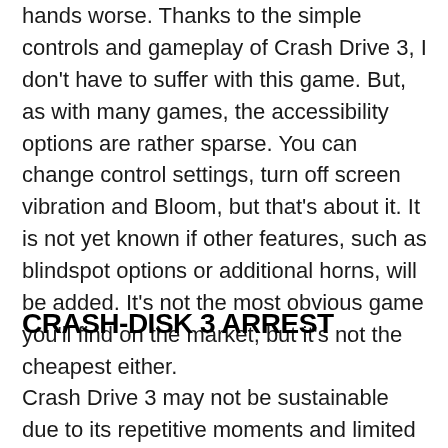hands worse. Thanks to the simple controls and gameplay of Crash Drive 3, I don't have to suffer with this game. But, as with many games, the accessibility options are rather sparse. You can change control settings, turn off screen vibration and Bloom, but that's about it. It is not yet known if other features, such as blindspot options or additional horns, will be added. It's not the most obvious game you'll find on the market, but it's not the cheapest either.
CRASH-DISK 3 ARREST
Crash Drive 3 may not be sustainable due to its repetitive moments and limited speed, but it's still a